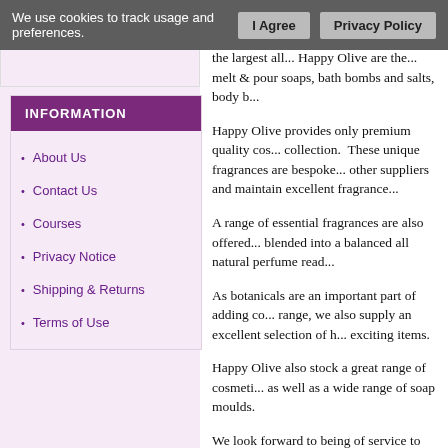We use cookies to track usage and preferences.
About Us
Contact Us
Courses
Privacy Notice
Shipping & Returns
Terms of Use
the largest all... Happy Olive are the... melt & pour soaps, bath bombs and salts, body b...
Happy Olive provides only premium quality cos... collection. These unique fragrances are bespoke... other suppliers and maintain excellent fragrance...
A range of essential fragrances are also offered... blended into a balanced all natural perfume read...
As botanicals are an important part of adding co... range, we also supply an excellent selection of h... exciting items.
Happy Olive also stock a great range of cosmeti... as well as a wide range of soap moulds.
We look forward to being of service to you and h...
We offer an extensive range of mineral make up... the largest range of mineral mica colours in the b... dye free mineral colours and are suited to most c... pour soaps, bath bombs and salts, body butters, M...
This web site is owned and operated by Happy O... satisfaction. If you have any suggestions or com...